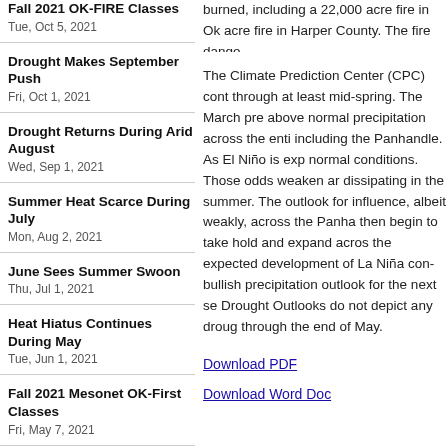Fall 2021 OK-FIRE Classes
Tue, Oct 5, 2021
Drought Makes September Push
Fri, Oct 1, 2021
Drought Returns During Arid August
Wed, Sep 1, 2021
Summer Heat Scarce During July
Mon, Aug 2, 2021
June Sees Summer Swoon
Thu, Jul 1, 2021
Heat Hiatus Continues During May
Tue, Jun 1, 2021
Fall 2021 Mesonet OK-First Classes
Fri, May 7, 2021
Cold April Feels Severe Weather Impacts
Tue, May 4, 2021
burned, including a 22,000 acre fire in Ok... acre fire in Harper County. The fire danger...
The Climate Prediction Center (CPC) cont... through at least mid-spring. The March pre... above normal precipitation across the enti... including the Panhandle. As El Niño is exp... normal conditions. Those odds weaken ar... dissipating in the summer. The outlook for... influence, albeit weakly, across the Panha... then begin to take hold and expand acros... the expected development of La Niña con... bullish precipitation outlook for the next se... Drought Outlooks do not depict any droug... through the end of May.
Download PDF
Download Word Doc